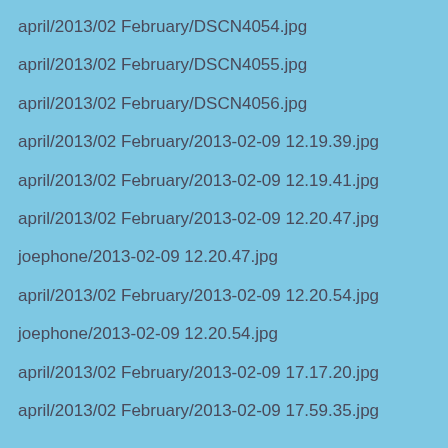april/2013/02 February/DSCN4054.jpg
april/2013/02 February/DSCN4055.jpg
april/2013/02 February/DSCN4056.jpg
april/2013/02 February/2013-02-09 12.19.39.jpg
april/2013/02 February/2013-02-09 12.19.41.jpg
april/2013/02 February/2013-02-09 12.20.47.jpg
joephone/2013-02-09 12.20.47.jpg
april/2013/02 February/2013-02-09 12.20.54.jpg
joephone/2013-02-09 12.20.54.jpg
april/2013/02 February/2013-02-09 17.17.20.jpg
april/2013/02 February/2013-02-09 17.59.35.jpg